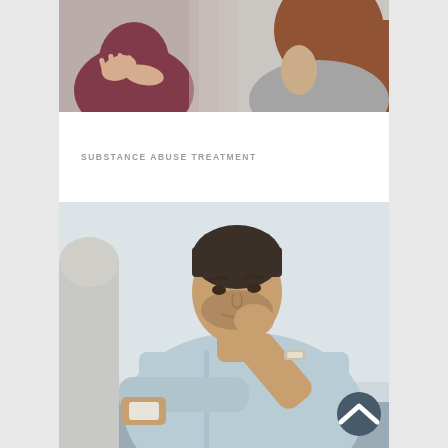[Figure (photo): Two women in a counseling or therapy session; one in a dark red top gesturing with hands, the other with auburn hair in a gray top, view cropped at shoulders.]
SUBSTANCE ABUSE TREATMENT
[Figure (photo): A man with short dark hair and stubble, wearing a light blue shirt, sitting in a gray chair with his fist raised to his mouth and a concerned or troubled expression, apparently in a therapy session.]